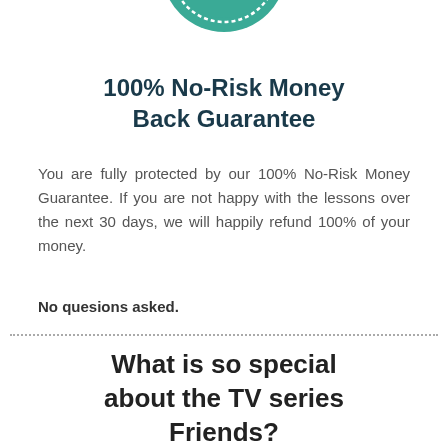[Figure (illustration): Partial green circular badge/seal with the word DAY visible at the top center of the page]
100% No-Risk Money Back Guarantee
You are fully protected by our 100% No-Risk Money Guarantee. If you are not happy with the lessons over the next 30 days, we will happily refund 100% of your money.
No quesions asked.
What is so special about the TV series Friends?